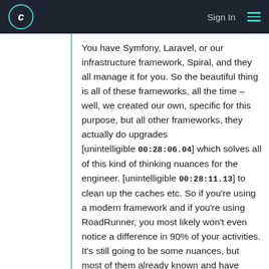c  Sign In ≡
You have Symfony, Laravel, or our infrastructure framework, Spiral, and they all manage it for you. So the beautiful thing is all of these frameworks, all the time – well, we created our own, specific for this purpose, but all other frameworks, they actually do upgrades [unintelligible 00:28:06.04] which solves all of this kind of thinking nuances for the engineer. [unintelligible 00:28:11.13] to clean up the caches etc. So if you're using a modern framework and if you're using RoadRunner, you most likely won't even notice a difference in 90% of your activities. It's still going to be some nuances, but most of them already known and have already been solved.